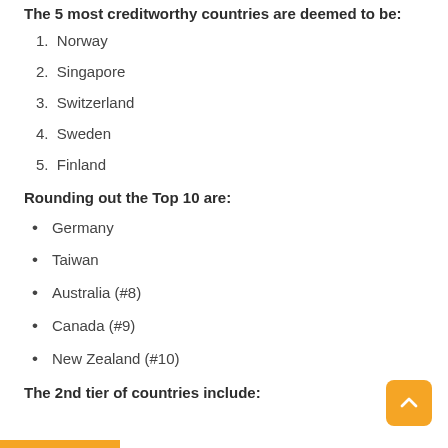The 5 most creditworthy countries are deemed to be:
1. Norway
2. Singapore
3. Switzerland
4. Sweden
5. Finland
Rounding out the Top 10 are:
Germany
Taiwan
Australia (#8)
Canada (#9)
New Zealand (#10)
The 2nd tier of countries include: